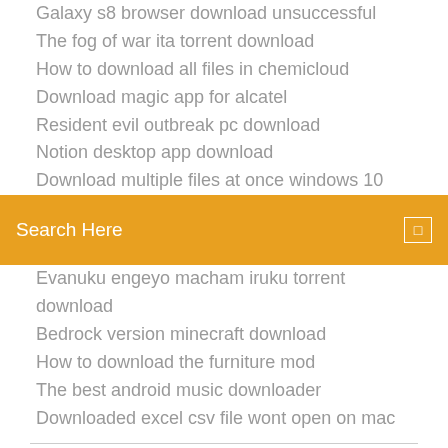Galaxy s8 browser download unsuccessful
The fog of war ita torrent download
How to download all files in chemicloud
Download magic app for alcatel
Resident evil outbreak pc download
Notion desktop app download
Download multiple files at once windows 10
Search Here
Evanuku engeyo macham iruku torrent download
Bedrock version minecraft download
How to download the furniture mod
The best android music downloader
Downloaded excel csv file wont open on mac
Connect your Galaxy Note 4 to your PC; Download and install Samsung Kies 3 → Download link ⌐ If it asks